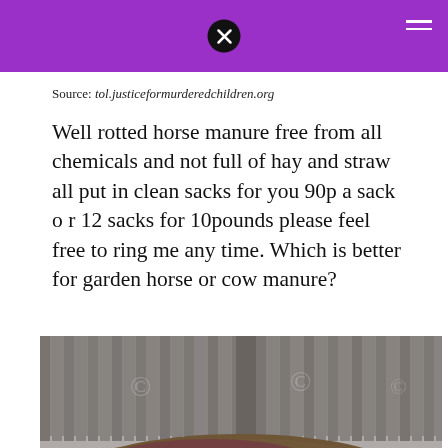Source: tol.justiceformurderedchildren.org
Well rotted horse manure free from all chemicals and not full of hay and straw all put in clean sacks for you 90p a sack o r 12 sacks for 10pounds please feel free to ring me any time. Which is better for garden horse or cow manure?
[Figure (photo): A pile of well-rotted horse manure heaped against a weathered wooden fence/gate, with watermark copyright symbols overlaid on the image.]